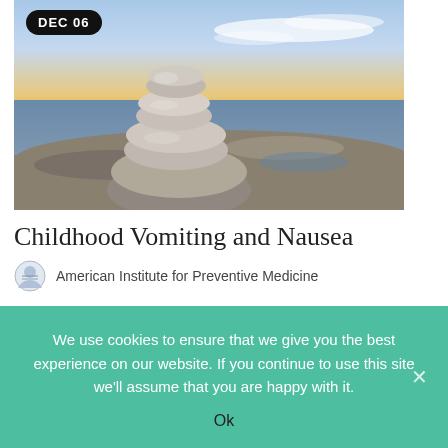[Figure (photo): Stacked zen stones balancing on rocky shore near water with dramatic cloudy sky at sunset]
Childhood Vomiting and Nausea
American Institute for Preventive Medicine
Childhood Vomiting and Nausea ;Vomiting is when you throw up what is in your stomach.
We use cookies to ensure that we give you the best experience on our website. If you continue to use this site we'll assume that you are happy with it.
Ok